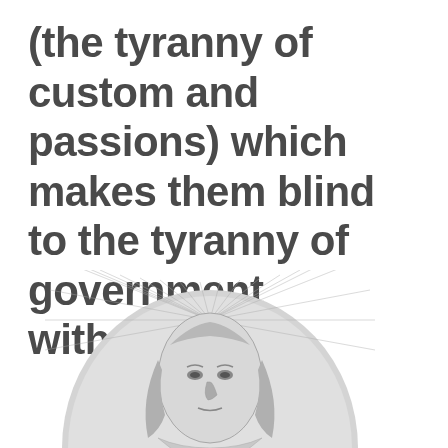(the tyranny of custom and passions) which makes them blind to the tyranny of government without (1649)
[Figure (illustration): Historical engraving portrait of a figure with long hair and a halo or radiant arc behind the head, rendered in grayscale line art style, cropped at bottom of page]